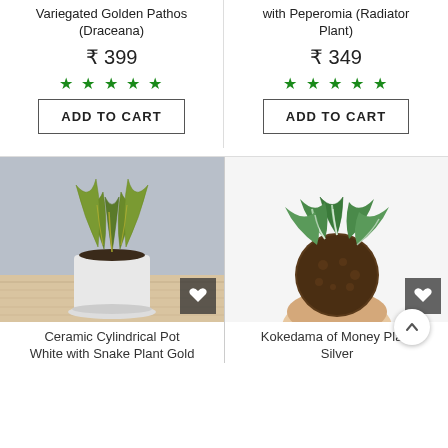Variegated Golden Pathos (Draceana)
₹ 399
★★★★★
ADD TO CART
with Peperomia (Radiator Plant)
₹ 349
★★★★★
ADD TO CART
[Figure (photo): Small snake plant with gold variegation in a white ceramic cylindrical pot on a wooden surface against a grey background, with a heart icon button overlay]
[Figure (photo): Kokedama (moss ball) of Money Plant Silver with white-variegated green leaves held in a hand against white background, with a heart icon button overlay]
Ceramic Cylindrical Pot White with Snake Plant Gold
Kokedama of Money Plant Silver